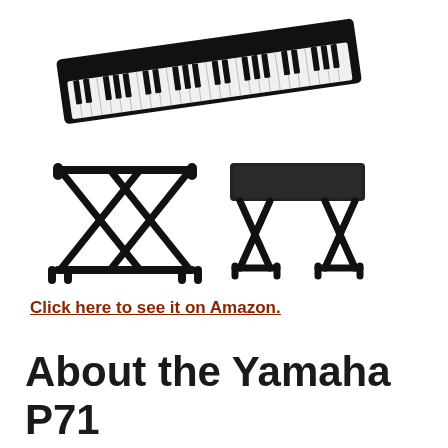[Figure (photo): Product photo showing a Yamaha P71 digital piano (black, 88-key) at top, an X-style keyboard stand at bottom left, and an X-style piano bench at bottom right, all on white background.]
Click here to see it on Amazon.
About the Yamaha P71 Digital Piano